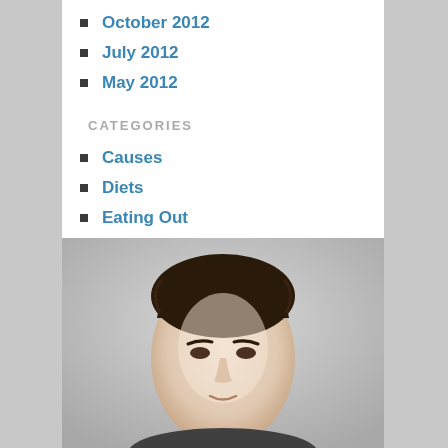October 2012
July 2012
May 2012
CATEGORIES
Causes
Diets
Eating Out
Healthy Conversions
Informative
Myth Busting
Practical Tips
Quick Tips
Relevant Musings
[Figure (photo): Portrait photo of a young man with dark hair, head and upper shoulders visible, light gray background]